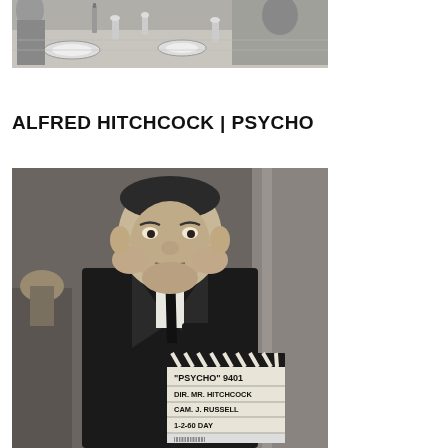[Figure (photo): Black and white photo of people at a dining table with glasses and plates, partially cropped at top of page]
ALFRED HITCHCOCK | PSYCHO
[Figure (photo): Black and white photo of Alfred Hitchcock holding a clapperboard that reads 'PSYCHO' 9401, DIR. MR. HITCHCOCK, CAM. J. RUSSELL, 1-2-60 DAY]